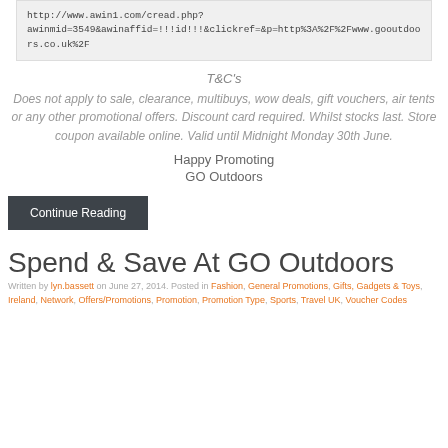http://www.awin1.com/cread.php?awinmid=3549&awinaffid=!!!id!!!&clickref=&p=http%3A%2F%2Fwww.gooutdoors.co.uk%2F
T&C's
Does not apply to sale, clearance, multibuys, wow deals, gift vouchers, air tents or any other promotional offers. Discount card required. Whilst stocks last. Store coupon available online. Valid until Midnight Monday 30th June.
Happy Promoting
GO Outdoors
Continue Reading
Spend & Save At GO Outdoors
Written by lyn.bassett on June 27, 2014. Posted in Fashion, General Promotions, Gifts, Gadgets & Toys, Ireland, Network, Offers/Promotions, Promotion, Promotion Type, Sports, Travel UK, Voucher Codes